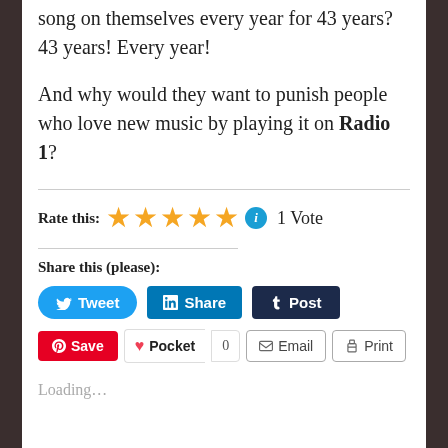song on themselves every year for 43 years? 43 years! Every year!
And why would they want to punish people who love new music by playing it on Radio 1?
Rate this: ★★★★★ ℹ 1 Vote
Share this (please):
Tweet | Share | Post | Save | Pocket 0 | Email | Print
Loading...